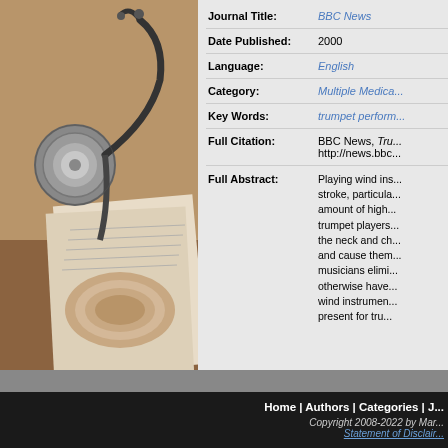[Figure (photo): Photo of a stethoscope resting on rolled bandage and papers on a wooden surface]
| Field | Value |
| --- | --- |
| Journal Title: | BBC News |
| Date Published: | 2000 |
| Language: | English |
| Category: | Multiple Medica... |
| Key Words: | trumpet perform... |
| Full Citation: | BBC News, Tru... http://news.bbc... |
| Full Abstract: | Playing wind ins... stroke, particula... amount of high... trumpet players... the neck and ch... and cause them... musicians elimi... otherwise have... wind instrumen... present for tru... |
Home | Authors | Categories | J... Copyright 2008-2022 by Mar... Statement of Disclair...